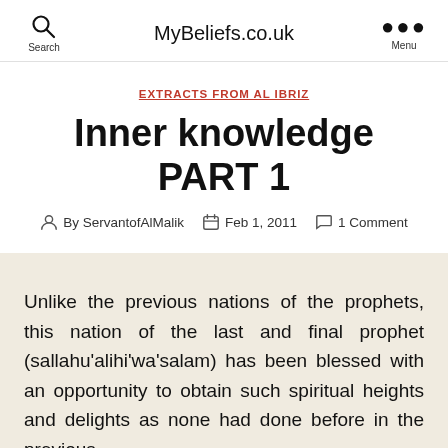MyBeliefs.co.uk
EXTRACTS FROM AL IBRIZ
Inner knowledge PART 1
By ServantofAlMalik   Feb 1, 2011   1 Comment
Unlike the previous nations of the prophets, this nation of the last and final prophet (sallahu'alihi'wa'salam) has been blessed with an opportunity to obtain such spiritual heights and delights as none had done before in the previous